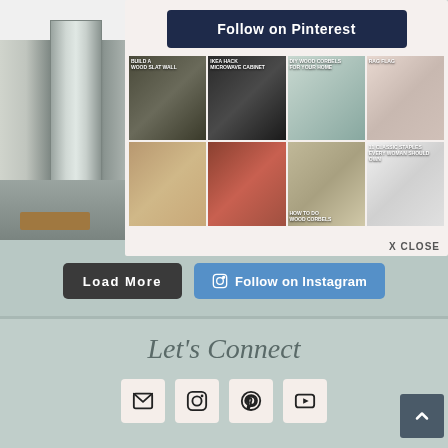[Figure (screenshot): Pinterest follow button popup overlay showing a grid of DIY home project pins including Wood Slat Wall, Microwave Cabinet, DIY Wood Corbels, and Rag Flag projects]
Load More
Follow on Instagram
Let's Connect
[Figure (infographic): Social media icon buttons: email/envelope, Instagram, Pinterest, YouTube]